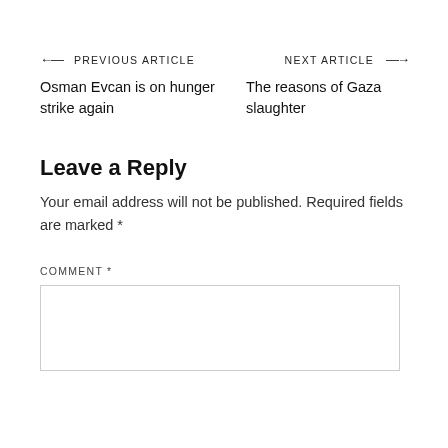← PREVIOUS ARTICLE
NEXT ARTICLE →
Osman Evcan is on hunger strike again
The reasons of Gaza slaughter
Leave a Reply
Your email address will not be published. Required fields are marked *
COMMENT *